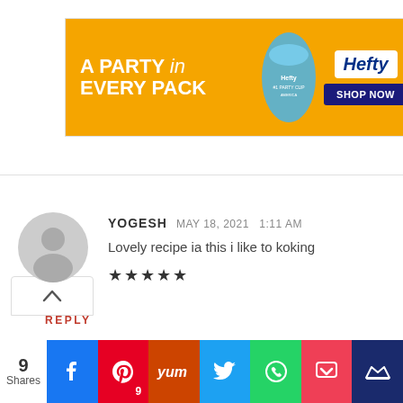[Figure (screenshot): Hefty advertisement banner with orange background, text 'A PARTY in EVERY PACK', Hefty logo and SHOP NOW button]
[Figure (screenshot): Chevron up arrow button]
YOGESH   MAY 18, 2021   1:11 AM
Lovely recipe ia this i like to koking
★★★★★
REPLY
[Figure (screenshot): Social share bar with 9 Shares, Facebook, Pinterest (9), Yum, Twitter, WhatsApp, Pocket, and crown icon buttons]